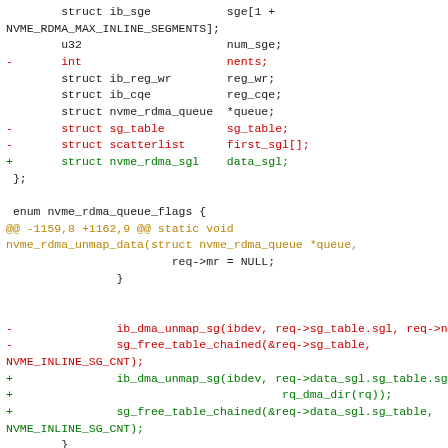[Figure (screenshot): A code diff showing changes to a C source file, with removed lines in red and added lines in green. The diff shows struct modifications removing sg_table and scatterlist fields and adding nvme_rdma_sgl, and function body changes replacing ib_dma_unmap_sg and sg_free_table_chained calls.]